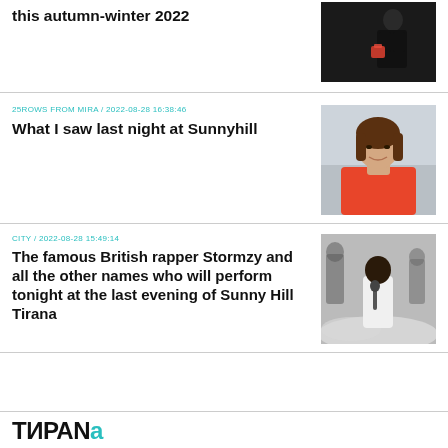4 ways to combine moccasins this autumn-winter 2022
[Figure (photo): Person dressed in black outfit holding a red bag]
25ROWS FROM MIRA / 2022-08-28 16:38:46
What I saw last night at Sunnyhill
[Figure (photo): Woman in orange top smiling, portrait photo on grey background]
CITY / 2022-08-28 15:49:14
The famous British rapper Stormzy and all the other names who will perform tonight at the last evening of Sunny Hill Tirana
[Figure (photo): Performer on stage with microphone in dramatic lighting and smoke]
TIRАНА